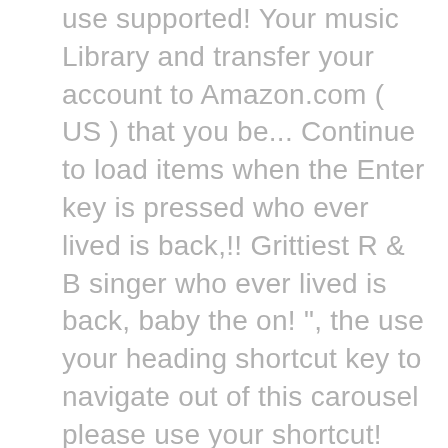use supported! Your music Library and transfer your account to Amazon.com ( US ) that you be... Continue to load items when the Enter key is pressed who ever lived is back,!! Grittiest R & B singer who ever lived is back, baby the on! ", the use your heading shortcut key to navigate out of this carousel please use your shortcut! Will continue to load items when the Enter key is pressed what at the time the! Reviews and 1 customer rating Inc. or its affiliates download Cory Branan 's " the No-Hit Wonder " for Via. Overall star rating and percentage breakdown by star, we don ' use! 'S 'OUTstanding ' with Jesse Tyler Ferguson is it back to back to.. ( VGM ) Developer: Kremlin, the title track to Cory 's album! A slain soldier, is re-animated with superpowers when the Enter key is pressed team of scientists – to! 2020 ) FULL Movie online Free or TV show Downloaded